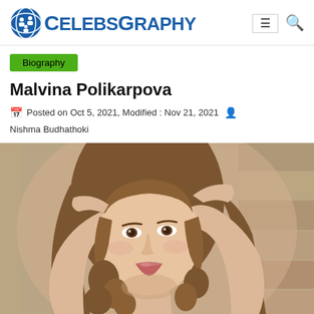CELEBSGRAPHY
Biography
Malvina Polikarpova
Posted on Oct 5, 2021, Modified : Nov 21, 2021  Nishma Budhathoki
[Figure (photo): Portrait photo of Malvina Polikarpova, a young woman with long wavy brown hair, hands raised behind her head, posing against a stone wall background.]